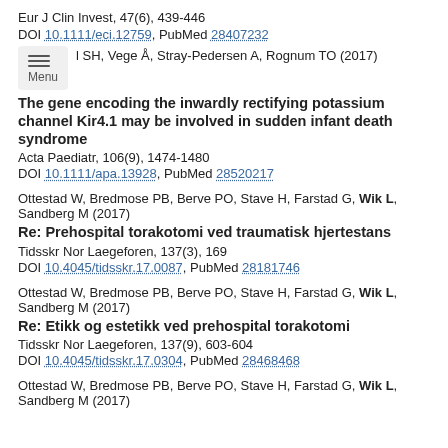Eur J Clin Invest, 47(6), 439-446
DOI 10.1111/eci.12759, PubMed 28407232
Opdal SH, Vege Å, Stray-Pedersen A, Rognum TO (2017)
The gene encoding the inwardly rectifying potassium channel Kir4.1 may be involved in sudden infant death syndrome
Acta Paediatr, 106(9), 1474-1480
DOI 10.1111/apa.13928, PubMed 28520217
Ottestad W, Bredmose PB, Berve PO, Stave H, Farstad G, Wik L, Sandberg M (2017)
Re: Prehospital torakotomi ved traumatisk hjertestans
Tidsskr Nor Laegeforen, 137(3), 169
DOI 10.4045/tidsskr.17.0087, PubMed 28181746
Ottestad W, Bredmose PB, Berve PO, Stave H, Farstad G, Wik L, Sandberg M (2017)
Re: Etikk og estetikk ved prehospital torakotomi
Tidsskr Nor Laegeforen, 137(9), 603-604
DOI 10.4045/tidsskr.17.0304, PubMed 28468468
Ottestad W, Bredmose PB, Berve PO, Stave H, Farstad G, Wik L, Sandberg M (2017)